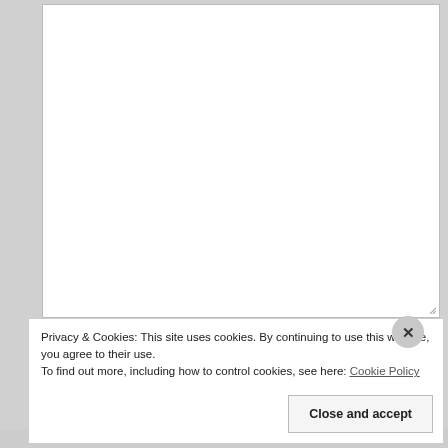[Figure (screenshot): Web form with a large textarea at top, Name and Email input fields, and a cookie consent banner overlay with 'Cookie Policy' link and 'Close and accept' button. A partial progress/color bar is visible at the bottom.]
Name
Email
Privacy & Cookies: This site uses cookies. By continuing to use this website, you agree to their use.
To find out more, including how to control cookies, see here: Cookie Policy
Close and accept